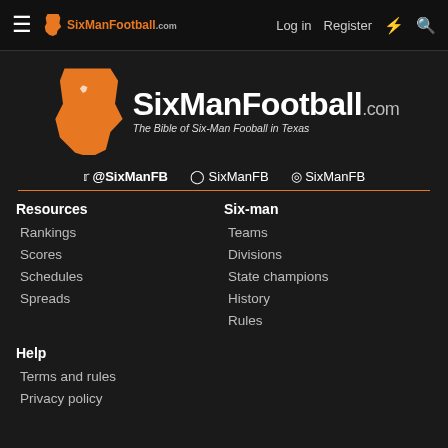≡ SixManFootball.com  Log in  Register  ⚡  🔍
[Figure (logo): SixManFootball.com logo with Texas state shape in orange, large bold white text 'SixManFootball' with '.com' and tagline 'The Bible of Six-Man Fooball in Texas']
@SixManFB  SixManFB  SixManFB
Resources
Rankings
Scores
Schedules
Spreads
Six-man
Teams
Divisions
State champions
History
Rules
Help
Terms and rules
Privacy policy